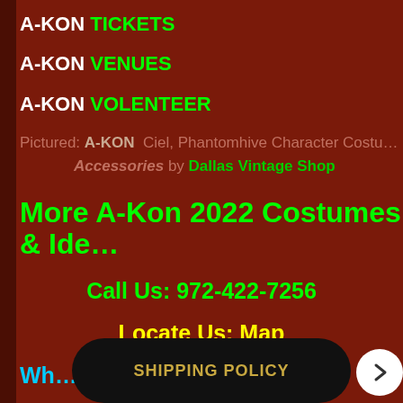A-KON TICKETS
A-KON VENUES
A-KON VOLENTEER
Pictured: A-KON Ciel, Phantomhive Character Costumes & Accessories by Dallas Vintage Shop
More A-Kon 2022 Costumes & Ideas
Call Us: 972-422-7256
Locate Us: Map
Why...
SHIPPING POLICY